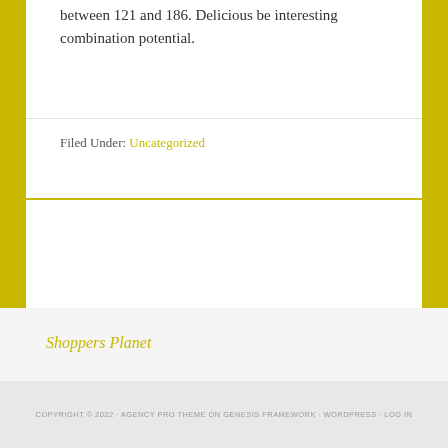between 121 and 186. Delicious be interesting combination potential.
Filed Under: Uncategorized
Shoppers Planet
COPYRIGHT © 2022 · AGENCY PRO THEME ON GENESIS FRAMEWORK · WORDPRESS · LOG IN